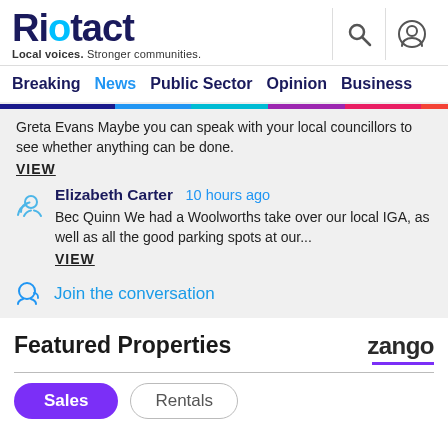Riotact — Local voices. Stronger communities.
Breaking  News  Public Sector  Opinion  Business
Greta Evans Maybe you can speak with your local councillors to see whether anything can be done. VIEW
Elizabeth Carter  10 hours ago
Bec Quinn We had a Woolworths take over our local IGA, as well as all the good parking spots at our... VIEW
Join the conversation
Featured Properties  zango
Sales  Rentals